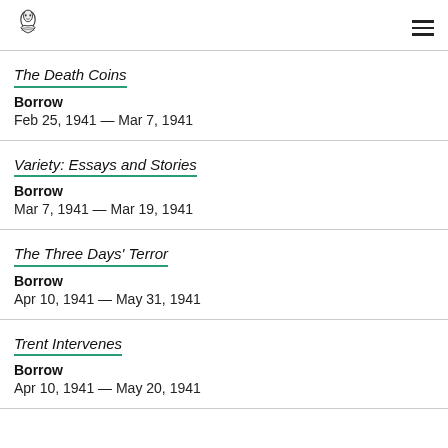The Death Coins
Borrow
Feb 25, 1941 — Mar 7, 1941
Variety: Essays and Stories
Borrow
Mar 7, 1941 — Mar 19, 1941
The Three Days' Terror
Borrow
Apr 10, 1941 — May 31, 1941
Trent Intervenes
Borrow
Apr 10, 1941 — May 20, 1941